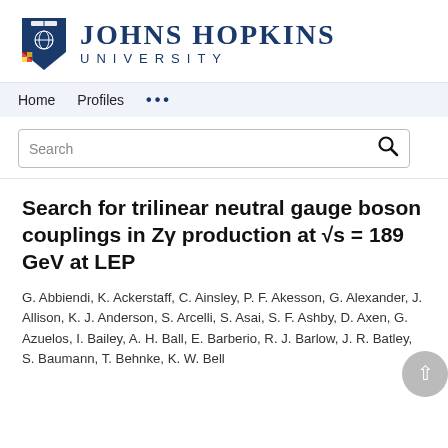[Figure (logo): Johns Hopkins University logo with shield and text 'JOHNS HOPKINS UNIVERSITY']
Home   Profiles   ...
Search
Search for trilinear neutral gauge boson couplings in Zγ production at √s = 189 GeV at LEP
G. Abbiendi, K. Ackerstaff, C. Ainsley, P. F. Akesson, G. Alexander, J. Allison, K. J. Anderson, S. Arcelli, S. Asai, S. F. Ashby, D. Axen, G. Azuelos, I. Bailey, A. H. Ball, E. Barberio, R. J. Barlow, J. R. Batley, S. Baumann, T. Behnke, K. W. Bell